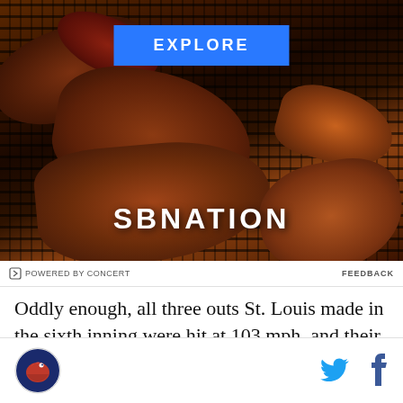[Figure (photo): SBNation advertisement showing grilled meats (ribs, sausages, chicken) on a barbecue grill, with an EXPLORE button and SBNATION logo overlay]
POWERED BY CONCERT   FEEDBACK
Oddly enough, all three outs St. Louis made in the sixth inning were hit at 103 mph, and their only run
[Figure (logo): SB Nation site logo (bird icon) at bottom left, with Twitter bird icon and Facebook f icon at bottom right]